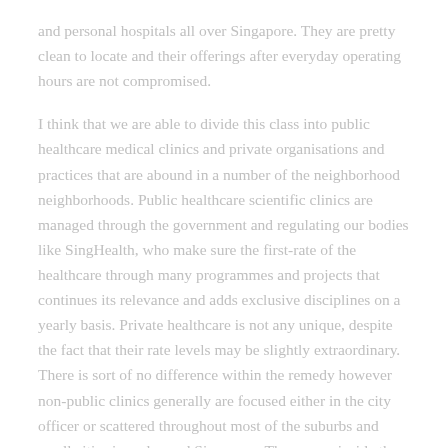and personal hospitals all over Singapore. They are pretty clean to locate and their offerings after everyday operating hours are not compromised.
I think that we are able to divide this class into public healthcare medical clinics and private organisations and practices that are abound in a number of the neighborhood neighborhoods. Public healthcare scientific clinics are managed through the government and regulating our bodies like SingHealth, who make sure the first-rate of the healthcare through many programmes and projects that continues its relevance and adds exclusive disciplines on a yearly basis. Private healthcare is not any unique, despite the fact that their rate levels may be slightly extraordinary. There is sort of no difference within the remedy however non-public clinics generally are focused either in the city officer or scattered throughout most of the suburbs and small cities in and round Singapore. They come inside the shape of circle of relatives practices or private expert clinics which can concentrate on something from chiropractic, neurosurgery, cardio-vascular, pediatric and gynecology. There are many extra